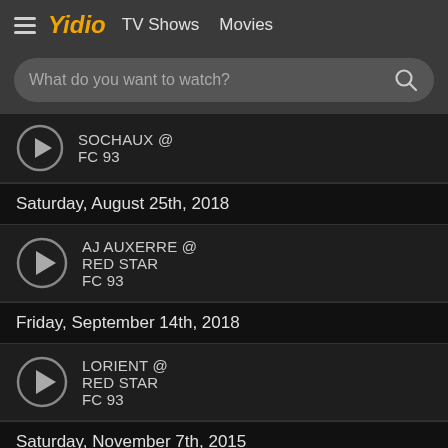Yidio  TV Shows  Movies
What do you want to watch?
SOCHAUX @ FC 93
Saturday, August 25th, 2018
AJ AUXERRE @ RED STAR FC 93
Friday, September 14th, 2018
LORIENT @ RED STAR FC 93
Saturday, November 7th, 2015
RED STAR FC @ PARIS FC